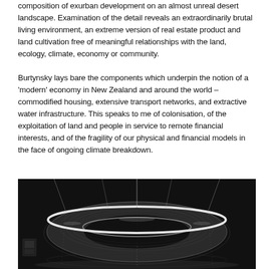composition of exurban development on an almost unreal desert landscape. Examination of the detail reveals an extraordinarily brutal living environment, an extreme version of real estate product and land cultivation free of meaningful relationships with the land, ecology, climate, economy or community.
Burtynsky lays bare the components which underpin the notion of a ‘modern’ economy in New Zealand and around the world – commodified housing, extensive transport networks, and extractive water infrastructure. This speaks to me of colonisation, of the exploitation of land and people in service to remote financial interests, and of the fragility of our physical and financial models in the face of ongoing climate breakdown.
[Figure (photo): A large circular ring-shaped metallic sculpture or installation, suspended in a dark exhibition space. The ring is illuminated with bright white light along its rim, with water or light streaks falling from supporting structures above. The overall effect is dramatic and futuristic against a near-black background.]